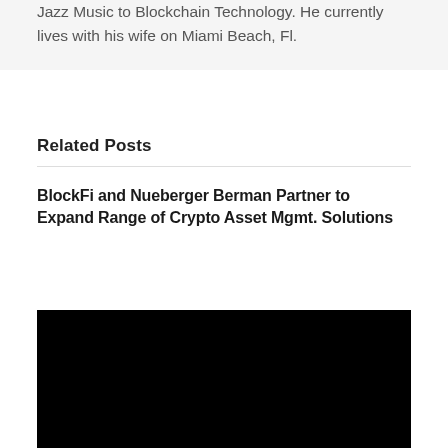Jazz Music to Blockchain Technology. He currently lives with his wife on Miami Beach, Fl.
Related Posts
BlockFi and Nueberger Berman Partner to Expand Range of Crypto Asset Mgmt. Solutions
[Figure (photo): Black image placeholder for related post]